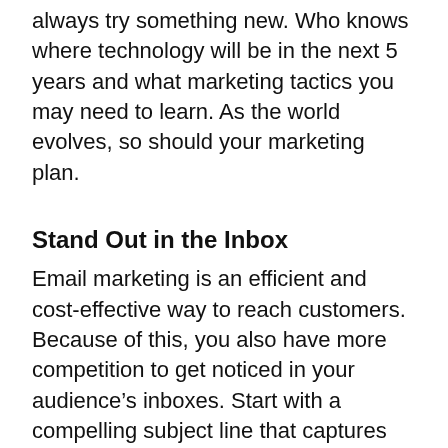always try something new. Who knows where technology will be in the next 5 years and what marketing tactics you may need to learn. As the world evolves, so should your marketing plan.
Stand Out in the Inbox
Email marketing is an efficient and cost-effective way to reach customers. Because of this, you also have more competition to get noticed in your audience's inboxes. Start with a compelling subject line that captures your recipient's attention. Entice them with a valuable offer, a cliffhanger phrase or